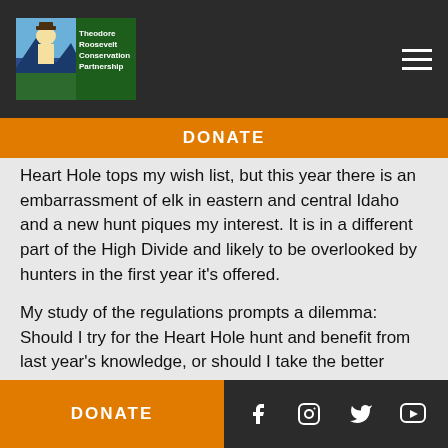Theodore Roosevelt Conservation Partnership
Heart Hole tops my wish list, but this year there is an embarrassment of elk in eastern and central Idaho and a new hunt piques my interest. It is in a different part of the High Divide and likely to be overlooked by hunters in the first year it’s offered.
My study of the regulations prompts a dilemma: Should I try for the Heart Hole hunt and benefit from last year’s knowledge, or should I take the better drawing odds and hunt in an area that is lousy with elk?
DONATE